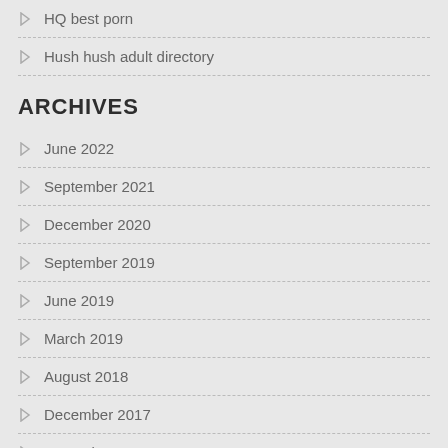HQ best porn
Hush hush adult directory
ARCHIVES
June 2022
September 2021
December 2020
September 2019
June 2019
March 2019
August 2018
December 2017
November 2017
October 2017